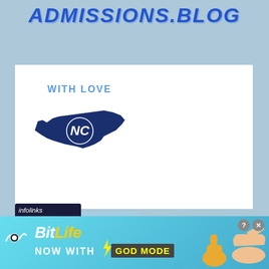ADMISSIONS.BLOG
[Figure (logo): UNC Chapel Hill logo with North Carolina state shape in navy blue and 'WITH LOVE' text above it]
[Figure (photo): Beach scene with tall beach grass/sea oats on sand dunes, blue sky in background]
Making the most of the summer before senior year
[Figure (screenshot): Infolinks ad bar followed by BitLife 'NOW WITH GOD MODE' advertisement banner with yellow thumb and pointing hand graphics]